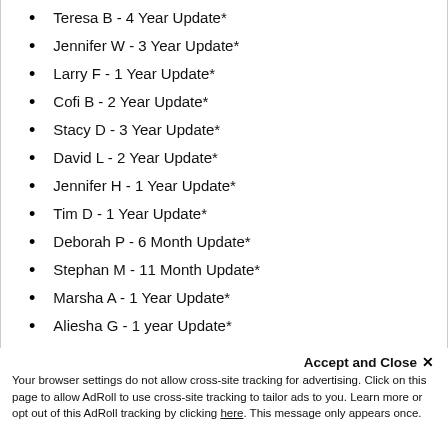Teresa B - 4 Year Update*
Jennifer W - 3 Year Update*
Larry F - 1 Year Update*
Cofi B - 2 Year Update*
Stacy D - 3 Year Update*
David L - 2 Year Update*
Jennifer H - 1 Year Update*
Tim D - 1 Year Update*
Deborah P - 6 Month Update*
Stephan M - 11 Month Update*
Marsha A - 1 Year Update*
Aliesha G - 1 year Update*
Cynthia M - 16 Month Update*
Jaja N - 1 Year Update*
Kimesha M - 3 Year Update*
Amanda R - 6 Month Update*
Accept and Close ✕
Your browser settings do not allow cross-site tracking for advertising. Click on this page to allow AdRoll to use cross-site tracking to tailor ads to you. Learn more or opt out of this AdRoll tracking by clicking here. This message only appears once.